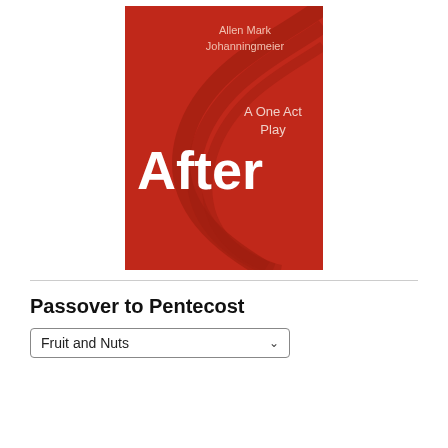[Figure (illustration): Book cover with red background showing decorative swirl lines. Text reads 'Allen Mark Johanningmeier' at top right, 'A One Act Play' in middle right, and 'After' in large bold white text at bottom left.]
Passover to Pentecost
Fruit and Nuts (dropdown selector)